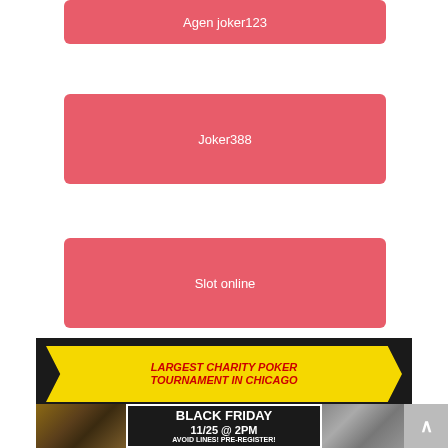Agen joker123
Joker388
Slot online
[Figure (infographic): Advertisement banner for Largest Charity Poker Tournament in Chicago. Yellow ribbon with red italic bold text 'LARGEST CHARITY POKER TOURNAMENT IN CHICAGO'. Below: photos of poker players on left and right, center black box with white text 'BLACK FRIDAY 11/25 @ 2PM AVOID LINES! PRE-REGISTER!']